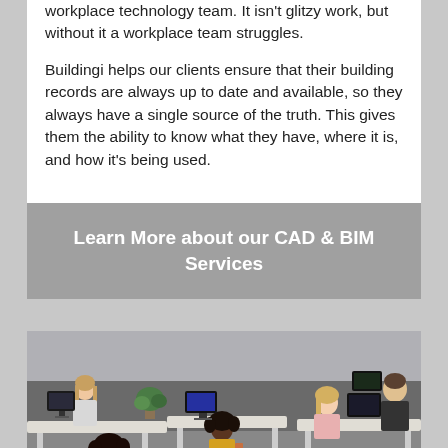workplace technology team. It isn't glitzy work, but without it a workplace team struggles.

Buildingi helps our clients ensure that their building records are always up to date and available, so they always have a single source of the truth. This gives them the ability to know what they have, where it is, and how it's being used.
Learn More about our CAD & BIM Services
[Figure (photo): Office scene with multiple people working at desktop computers at open-plan desks. Several workers visible including women with dark and blonde hair, and a man in the background. Modern office environment with plants.]